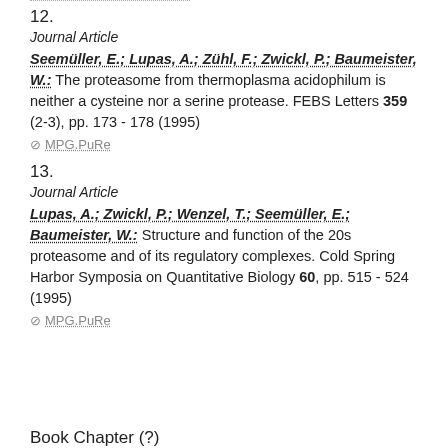12.
Journal Article
Seemüller, E.; Lupas, A.; Zühl, F.; Zwickl, P.; Baumeister, W.: The proteasome from thermoplasma acidophilum is neither a cysteine nor a serine protease. FEBS Letters 359 (2-3), pp. 173 - 178 (1995)
⊘ MPG.PuRe
13.
Journal Article
Lupas, A.; Zwickl, P.; Wenzel, T.; Seemüller, E.; Baumeister, W.: Structure and function of the 20s proteasome and of its regulatory complexes. Cold Spring Harbor Symposia on Quantitative Biology 60, pp. 515 - 524 (1995)
⊘ MPG.PuRe
Book Chapter (?)